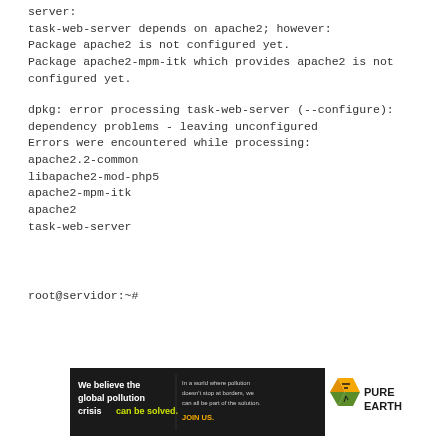server:
task-web-server depends on apache2; however:
Package apache2 is not configured yet.
Package apache2-mpm-itk which provides apache2 is not configured yet.
dpkg: error processing task-web-server (--configure):
dependency problems - leaving unconfigured
Errors were encountered while processing:
apache2.2-common
libapache2-mod-php5
apache2-mpm-itk
apache2
task-web-server
root@servidor:~#
[Figure (infographic): Pure Earth advertisement banner: black background with text 'We believe the global pollution crisis can be solved.' (can be solved in green/yellow), middle column text 'In a world where pollution doesn't stop at borders, we can all be part of the solution. JOIN US.' (JOIN US in yellow), right section with white background showing Pure Earth logo (diamond shape icon with wheat symbol) and PURE EARTH text in bold.]